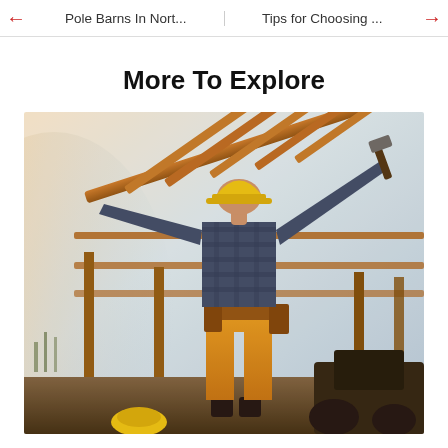← Pole Barns In Nort... | Tips for Choosing ... →
More To Explore
[Figure (photo): Construction worker in yellow hard hat and yellow pants standing on a roof frame structure, holding a hammer with arms outstretched, viewed from below against a bright sky. Wood framing and trusses visible.]